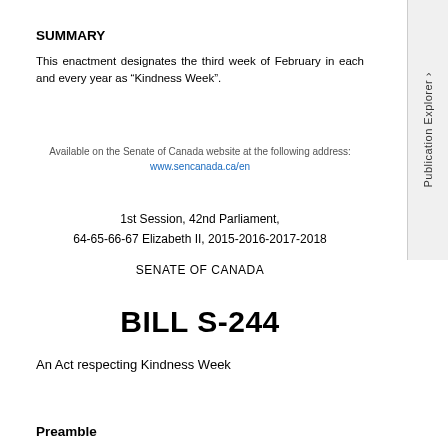SUMMARY
This enactment designates the third week of February in each and every year as “Kindness Week”.
Available on the Senate of Canada website at the following address: www.sencanada.ca/en
1st Session, 42nd Parliament,
64-65-66-67 Elizabeth II, 2015-2016-2017-2018
SENATE OF CANADA
BILL S-244
An Act respecting Kindness Week
Preamble